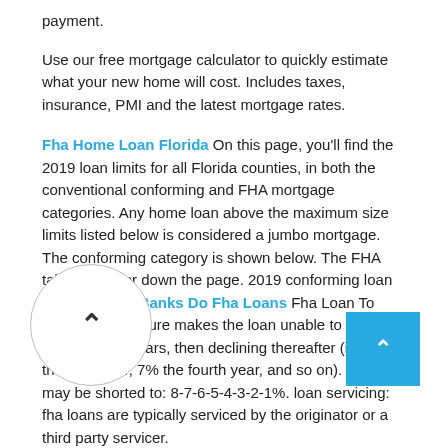payment.
Use our free mortgage calculator to quickly estimate what your new home will cost. Includes taxes, insurance, PMI and the latest mortgage rates.
Fha Home Loan Florida On this page, you'll find the 2019 loan limits for all Florida counties, in both the conventional conforming and FHA mortgage categories. Any home loan above the maximum size limits listed below is considered a jumbo mortgage. The conforming category is shown below. The FHA table is further down the page. 2019 conforming loan Limits [.] What Banks Do Fha Loans Fha Loan To Build This structure makes the loan unable to be paid for the first 2 years, then declining thereafter (i.e. 8% the third year, 7% the fourth year, and so on). This may be shorted to: 8-7-6-5-4-3-2-1%. loan servicing: fha loans are typically serviced by the originator or a third party servicer.
Check out the web's best free mortgage calculator to save money on your home loan today. Estimate your monthly payments with PMI, taxes, homeowner's insurance, HOA fees, current loan rates & more.